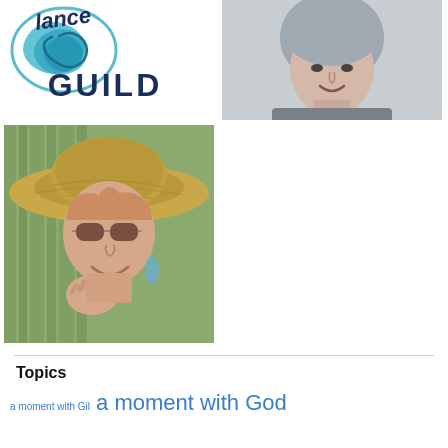[Figure (logo): Dance Guild logo with teal wave/flower icon and text 'GUILD' in dark navy]
[Figure (photo): Portrait photo of an older woman with short gray hair, smiling, wearing a gray top]
[Figure (photo): Portrait photo of a woman wearing a wide-brimmed woven hat and glasses, smiling, with hand near chin]
Topics
a moment with God